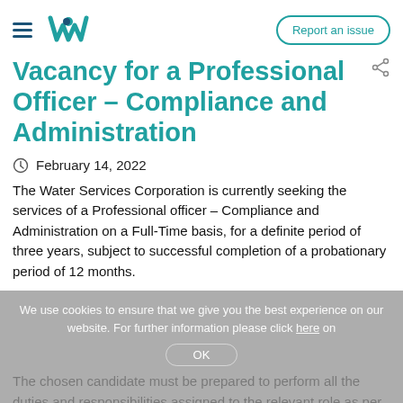Report an issue
Vacancy for a Professional Officer – Compliance and Administration
February 14, 2022
The Water Services Corporation is currently seeking the services of a Professional officer – Compliance and Administration on a Full-Time basis, for a definite period of three years, subject to successful completion of a probationary period of 12 months.
The chosen candidate must be prepared to perform all the duties and responsibilities assigned to the relevant role as per below: